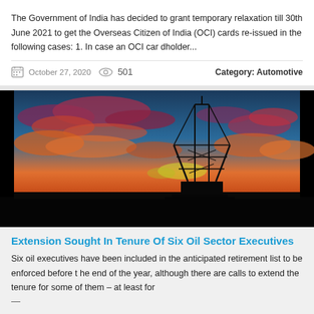The Government of India has decided to grant temporary relaxation till 30th June 2021 to get the Overseas Citizen of India (OCI) cards re-issued in the following cases: 1. In case an OCI cardholder...
October 27, 2020   501   Category: Automotive
[Figure (photo): An oil drilling rig silhouetted against a dramatic sunset sky with red, orange, blue and purple clouds.]
Extension Sought In Tenure Of Six Oil Sector Executives
Six oil executives have been included in the anticipated retirement list to be enforced before the end of the year, although there are calls to extend the tenure for some of them – at least for —